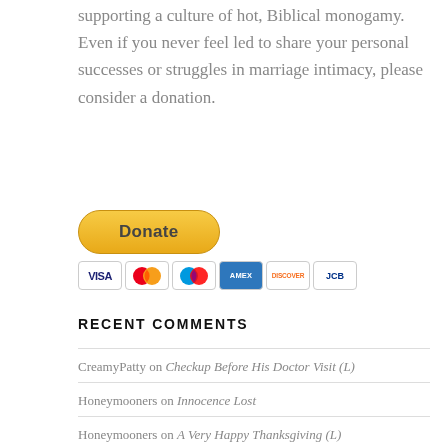supporting a culture of hot, Biblical monogamy. Even if you never feel led to share your personal successes or struggles in marriage intimacy, please consider a donation.
[Figure (other): PayPal Donate button with credit card icons (Visa, Mastercard, Maestro, American Express, Discover, JCB)]
RECENT COMMENTS
CreamyPatty on Checkup Before His Doctor Visit (L)
Honeymooners on Innocence Lost
Honeymooners on A Very Happy Thanksgiving (L)